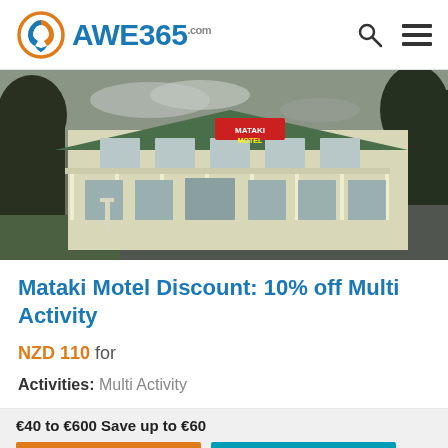AWE365.com
[Figure (photo): Mataki Motel exterior photo showing a cream/white two-storey motel building with green roof, white railings and verandah, a motel sign visible, surrounded by green lawn and dark trees, with a car park in the foreground.]
Mataki Motel Discount: 10% off Multi Activity
NZD 110 for
Activities: Multi Activity
€40 to €600 Save up to €60
ENQUIRE NOW
SHARE THIS